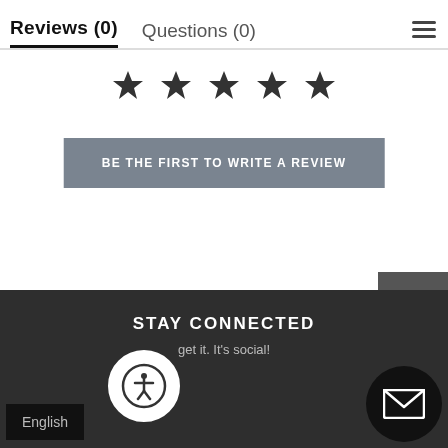Reviews (0)   Questions (0)
[Figure (other): Five star rating icons (empty/outline stars) displayed in a row]
BE THE FIRST TO WRITE A REVIEW
[Figure (other): Back to top button with upward chevron arrow]
STAY CONNECTED
get it. It's social!
English
[Figure (other): Accessibility icon - person in circle logo]
[Figure (other): Email/envelope icon button]